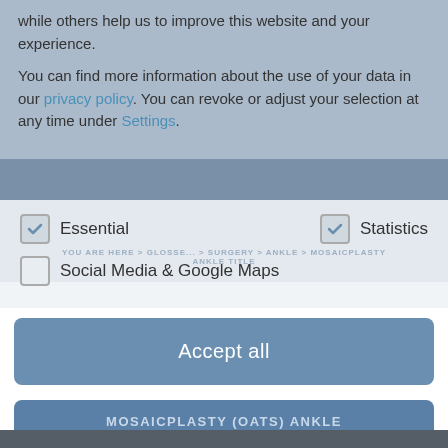while others help us to improve this website and your experience.
You can find more information about the use of your data in our privacy policy. You can revoke or adjust your selection at any time under Settings.
Essential
Statistics
Social Media & Google Maps
YOU ARE HERE > GLOSSE... > SURGERY > ANKLE > MOSAICPLASTY ANKLE TITLE
Accept all
MOSAICPLASTY (OATS) ANKLE
Cartilage damage can often lead to a painful case of ankle arthritis and will therefore affect the patient's quality of life. Depending on the type of activity, patients will begin to notice restrictions in their movement. A mosaicplasty (OATS) can restore complete joint function.